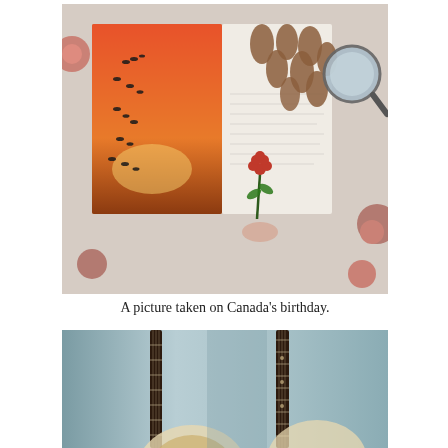[Figure (photo): Top-down photo of an open book with birds illustration and orange sunset, pine cones, a red flower held by a hand, a magnifying glass, all on a floral fabric background]
A picture taken on Canada's birthday.
[Figure (photo): Close-up photo of two banjos or similar stringed instruments standing upright, showing the necks, fretboards, and circular resonator bodies against a blurred gray background]